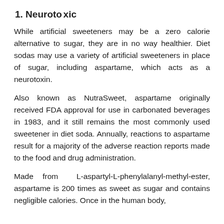1. Neurotoxic
While artificial sweeteners may be a zero calorie alternative to sugar, they are in no way healthier. Diet sodas may use a variety of artificial sweeteners in place of sugar, including aspartame, which acts as a neurotoxin.
Also known as NutraSweet, aspartame originally received FDA approval for use in carbonated beverages in 1983, and it still remains the most commonly used sweetener in diet soda. Annually, reactions to aspartame result for a majority of the adverse reaction reports made to the food and drug administration.
Made from L-aspartyl-L-phenylalanyl-methyl-ester, aspartame is 200 times as sweet as sugar and contains negligible calories. Once in the human body,